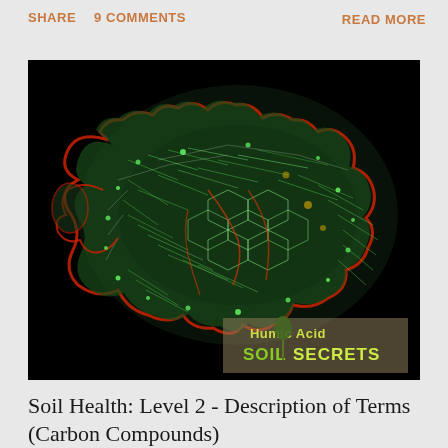SHARE   9 COMMENTS                                READ MORE
[Figure (photo): Scientific microscopy or 3D visualization image of a humic acid molecular structure on a black background, showing intricate green, red, and white fibrous network patterns. Watermark in lower right: 'Humic Acid' above 'SOIL SECRETS' logo with a tree graphic.]
Soil Health: Level 2 - Description of Terms (Carbon Compounds)